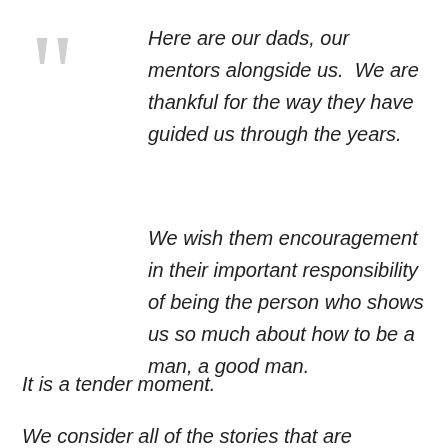Here are our dads, our mentors alongside us.  We are thankful for the way they have guided us through the years.
We wish them encouragement in their important responsibility of being the person who shows us so much about how to be a man, a good man.
It is a tender moment.
We consider all of the stories that are